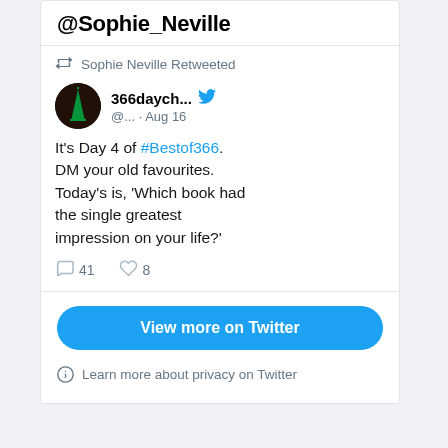@Sophie_Neville
Sophie Neville Retweeted
366daych... @... · Aug 16
It's Day 4 of #Bestof366. DM your old favourites. Today's is, 'Which book had the single greatest impression on your life?'
41 replies, 8 likes
View more on Twitter
Learn more about privacy on Twitter